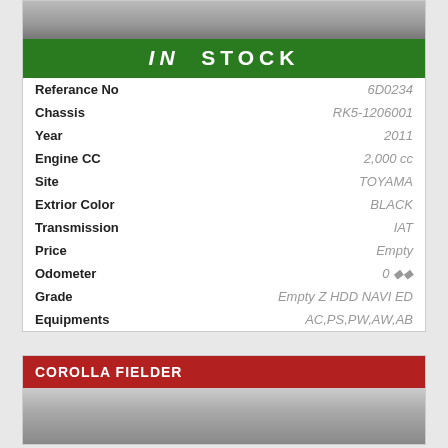[Figure (photo): Top portion of a car photo, showing road/parking area background]
IN STOCK
| Field | Value |
| --- | --- |
| Referance No | 6D0234 |
| Chassis | RK5-1206001 |
| Year | 2011 |
| Engine CC | 2,000 cc |
| Site | TOYAMA |
| Extrior Color | BLACK |
| Transmission | IAT |
| Price | Empty |
| Odometer | 0 ◆◆ |
| Grade | Empty Z HDD NAVI ED |
| Equipments | AC,PS,PW,AW,AB |
COROLLA FIELDER
[Figure (photo): Photo of a Corolla Fielder car in a garage/showroom]